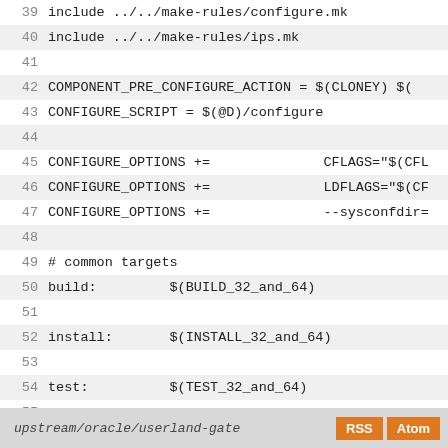39  include ../../make-rules/configure.mk
40  include ../../make-rules/ips.mk
41
42  COMPONENT_PRE_CONFIGURE_ACTION = $(CLONEY) $(
43  CONFIGURE_SCRIPT = $(@D)/configure
44
45  CONFIGURE_OPTIONS   +=                  CFLAGS="$(CFL
46  CONFIGURE_OPTIONS   +=                  LDFLAGS="$(CF
47  CONFIGURE_OPTIONS   +=                  --sysconfdir=
48
49  # common targets
50  build:          $(BUILD_32_and_64)
51
52  install:        $(INSTALL_32_and_64)
53
54  test:           $(TEST_32_and_64)
55
56  BUILD_PKG_DEPENDENCIES =     $(BUILD_TOOLS
57
58  include ../../make-rules/depend.mk
upstream/oracle/userland-gate  RSS  Atom